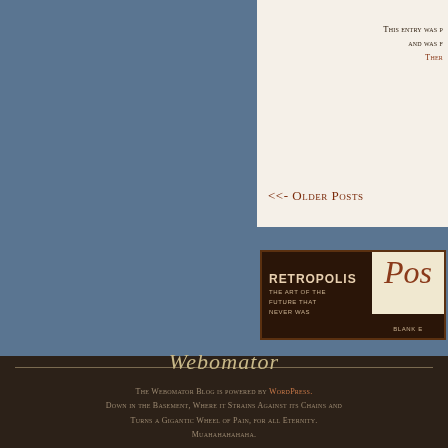This entry was posted on and was filed under There
<<- Older Posts
[Figure (logo): Retropolis: The Art of the Future That Never Was — advertisement banner with dark brown background and cream lettering on left, and a script 'Pos' with 'BLANK E' label on cream background on right]
Webomator
The Webomator Blog is powered by WordPress. Down in the Basement. Where it Strains Against its Chains and Turns a Gigantic Wheel of Pain, for all Eternity. Muahahahahaha.